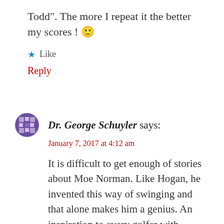Todd". The more I repeat it the better my scores ! 🙂
★ Like
Reply
Dr. George Schuyler says:
January 7, 2017 at 4:12 am
It is difficult to get enough of stories about Moe Norman. Like Hogan, he invented this way of swinging and that alone makes him a genius. An inspiration to every golfer with passion to improve.
★ Like
Reply